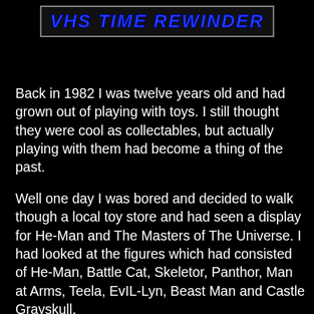VHS TIME REWINDER
Back in 1982 I was twelve years old and had grown out of playing with toys. I still thought they were cool as collectables, but actually playing with them had become a thing of the past.
Well one day I was bored and decided to walk though a local toy store and had seen a display for He-Man and The Masters of The Universe. I had looked at the figures which had consisted of He-Man, Battle Cat, Skeletor, Panthor, Man at Arms, Teela, EvIL-Lyn, Beast Man and Castle Grayskull.
There really wasn't much more to it than a banner, but I thought they were really cool. They were the completely jacked up looking figures that were ready to fight anybody and anything. And He-Man had this